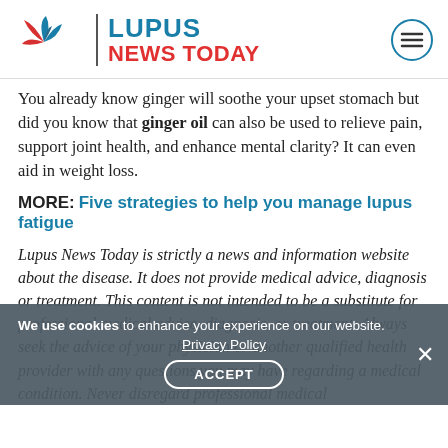Lupus News Today
You already know ginger will soothe your upset stomach but did you know that ginger oil can also be used to relieve pain, support joint health, and enhance mental clarity? It can even aid in weight loss.
MORE: Five strategies to help you manage lupus fatigue
Lupus News Today is strictly a news and information website about the disease. It does not provide medical advice, diagnosis or treatment. This content is not intended to be a substitute for professional medical advice, diagnosis, or treatment. Always seek the advice of your physician or another qualified health provider with any questions you may have regarding a medical condition. Never disregard professional medical
We use cookies to enhance your experience on our website. Privacy Policy ACCEPT